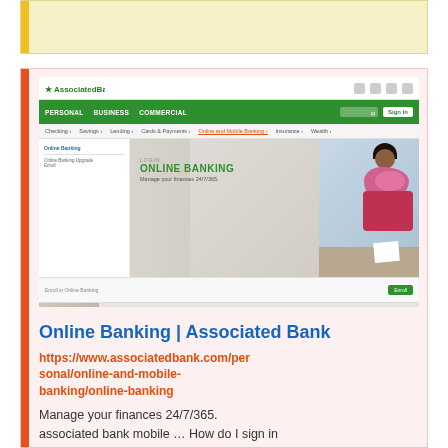[Figure (screenshot): Top yellow/cream highlighted box area at the top of the page with yellow left bar]
[Figure (screenshot): Screenshot of Associated Bank website showing online banking page with green navigation bar, PERSONAL/BUSINESS/COMMERCIAL menu, hero image with woman and ONLINE BANKING text, left sidebar, and partial bottom strip showing 'It's easy to get started']
Online Banking | Associated Bank
https://www.associatedbank.com/personal/online-and-mobile-banking/online-banking
Manage your finances 24/7/365. associated bank mobile ... How do I sign in to Online Banking & To enroll in Online...